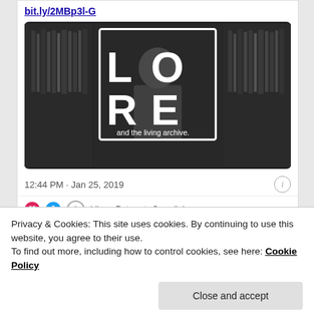bit.ly/2MBp3l-G
[Figure (photo): Black and white photo of a person reading among bookshelves, with large white text overlaid reading 'LORE' and subtitle 'and the living archive.']
12:44 PM · Jan 25, 2019
Privacy & Cookies: This site uses cookies. By continuing to use this website, you agree to their use.
To find out more, including how to control cookies, see here: Cookie Policy
Close and accept
Instagram seems as good a place as any to catch